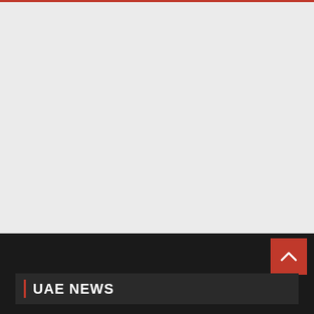[Figure (other): Top red horizontal bar divider]
[Figure (other): Large light gray content area placeholder]
[Figure (other): Dark footer background area with back-to-top red button containing an upward chevron arrow]
UAE NEWS